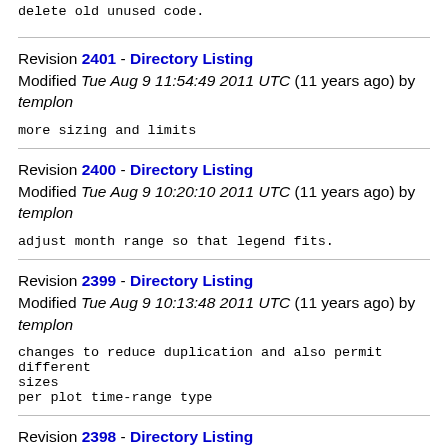delete old unused code.
Revision 2401 - Directory Listing
Modified Tue Aug 9 11:54:49 2011 UTC (11 years ago) by templon
more sizing and limits
Revision 2400 - Directory Listing
Modified Tue Aug 9 10:20:10 2011 UTC (11 years ago) by templon
adjust month range so that legend fits.
Revision 2399 - Directory Listing
Modified Tue Aug 9 10:13:48 2011 UTC (11 years ago) by templon
changes to reduce duplication and also permit different sizes
per plot time-range type
Revision 2398 - Directory Listing